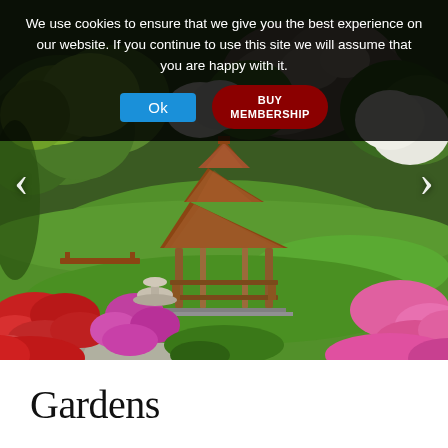We use cookies to ensure that we give you the best experience on our website. If you continue to use this site we will assume that you are happy with it.
[Figure (photo): A lush garden scene featuring a wooden gazebo/pagoda structure surrounded by colorful flowering plants including red and pink azaleas, green lawn, stone pathway, and a decorative stone birdbath, with trees and rocky hillside in the background. Navigation arrows on left and right sides.]
Gardens